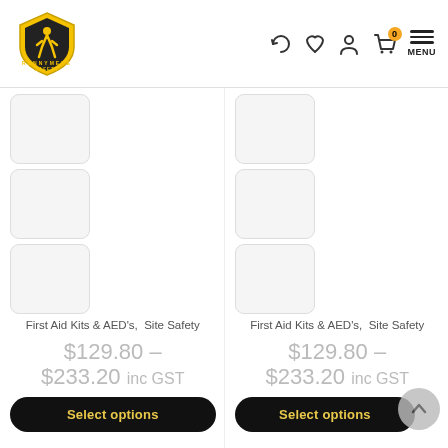[Figure (logo): Runnymede Safety company logo — yellow shield with runner silhouette]
[Figure (screenshot): Navigation icons: refresh, heart/wishlist, account, shopping cart with 0 badge, hamburger menu with MENU label]
[Figure (photo): Product thumbnail image stack (3 stacked rounded square placeholders, left column)]
First Aid Kits & AED's,  Site Safety
$129.80 – $233.20 inc GST
Select options
[Figure (photo): Product thumbnail image stack (3 stacked rounded square placeholders, right column)]
First Aid Kits & AED's,  Site Safety
$129.80 – $233.20 inc GST
Select options